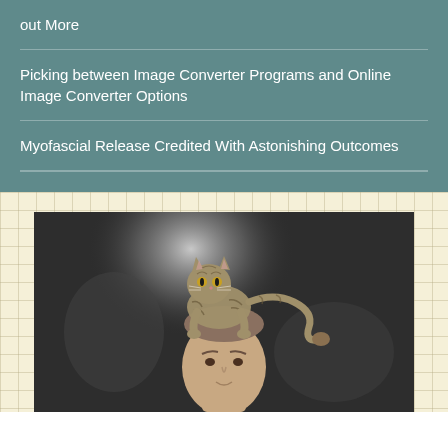out More
Picking between Image Converter Programs and Online Image Converter Options
Myofascial Release Credited With Astonishing Outcomes
[Figure (photo): A tabby cat perched on top of a man's head. The cat is standing/crouching on the man's head looking at the camera. Dark studio background with light spotlight effect behind the subjects.]